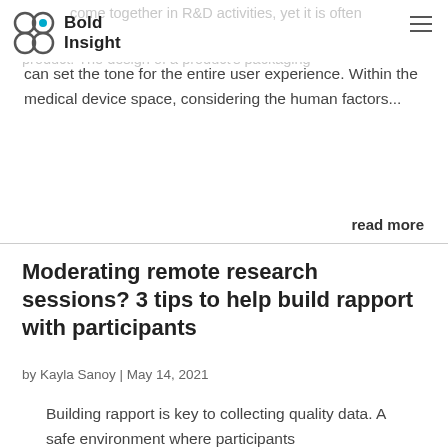Bold Insight
come together in R&D activities, yet it is often the first experience users have with a new product. The design of a product's packaging can set the tone for the entire user experience. Within the medical device space, considering the human factors...
read more
Moderating remote research sessions? 3 tips to help build rapport with participants
by Kayla Sanoy | May 14, 2021
Building rapport is key to collecting quality data. A safe environment where participants